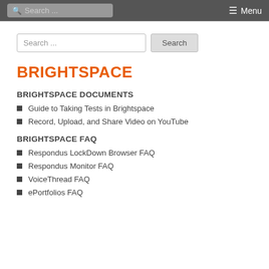Search ... Menu
Search ...
BRIGHTSPACE
BRIGHTSPACE DOCUMENTS
Guide to Taking Tests in Brightspace
Record, Upload, and Share Video on YouTube
BRIGHTSPACE FAQ
Respondus LockDown Browser FAQ
Respondus Monitor FAQ
VoiceThread FAQ
ePortfolios FAQ